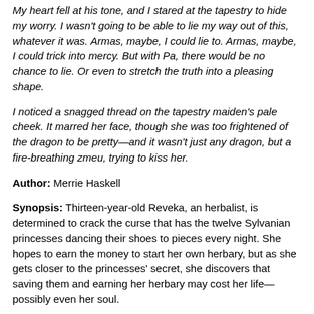My heart fell at his tone, and I stared at the tapestry to hide my worry. I wasn't going to be able to lie my way out of this, whatever it was. Armas, maybe, I could lie to. Armas, maybe, I could trick into mercy. But with Pa, there would be no chance to lie. Or even to stretch the truth into a pleasing shape.
I noticed a snagged thread on the tapestry maiden's pale cheek. It marred her face, though she was too frightened of the dragon to be pretty—and it wasn't just any dragon, but a fire-breathing zmeu, trying to kiss her.
Author: Merrie Haskell
Synopsis: Thirteen-year-old Reveka, an herbalist, is determined to crack the curse that has the twelve Sylvanian princesses dancing their shoes to pieces every night. She hopes to earn the money to start her own herbary, but as she gets closer to the princesses' secret, she discovers that saving them and earning her herbary may cost her life—possibly even her soul.